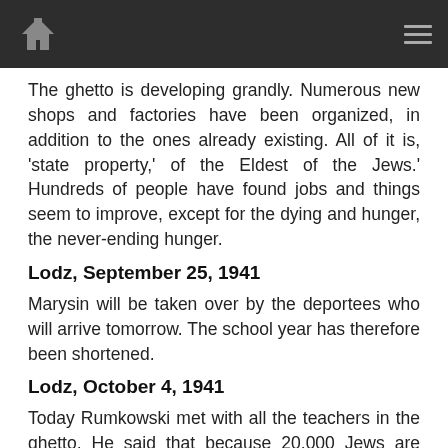[Home icon] [Menu icon]
The ghetto is developing grandly. Numerous new shops and factories have been organized, in addition to the ones already existing. All of it is, 'state property,' of the Eldest of the Jews.' Hundreds of people have found jobs and things seem to improve, except for the dying and hunger, the never-ending hunger.
Lodz, September 25, 1941
Marysin will be taken over by the deportees who will arrive tomorrow. The school year has therefore been shortened.
Lodz, October 4, 1941
Today Rumkowski met with all the teachers in the ghetto. He said that because 20,000 Jews are arriving from all over Germany, he is extending the school recess now, instead of having it during the winter. I think it's the end of schooling in the ghetto, at least for me, since I don't think I'll be a lyceum